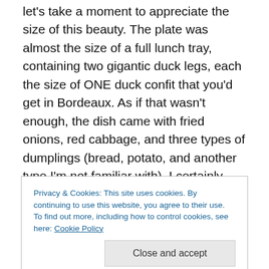let's take a moment to appreciate the size of this beauty. The plate was almost the size of a full lunch tray, containing two gigantic duck legs, each the size of ONE duck confit that you'd get in Bordeaux. As if that wasn't enough, the dish came with fried onions, red cabbage, and three types of dumplings (bread, potato, and another type I'm not familiar with). I certainly over-ordered and this size would have been perfect for two, but I tried my best. And I didn't have to try very hard because of how amazingly tasty the duck was. I would even go as far as saying that it was better than a confit de canard in Bordeaux, and that
Privacy & Cookies: This site uses cookies. By continuing to use this website, you agree to their use.
To find out more, including how to control cookies, see here: Cookie Policy
and it was one of the few times when I genuinely could not